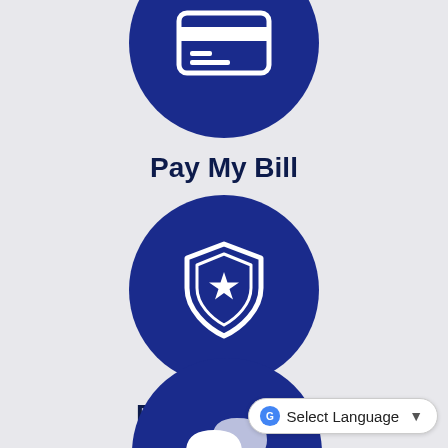[Figure (illustration): Dark blue circle icon with a white credit card / payment icon — Pay My Bill]
Pay My Bill
[Figure (illustration): Dark blue circle icon with a white sheriff badge / shield star icon — Public Safety]
Public Safety
[Figure (illustration): Dark blue circle icon with white speech/chat bubbles icon]
Select Language